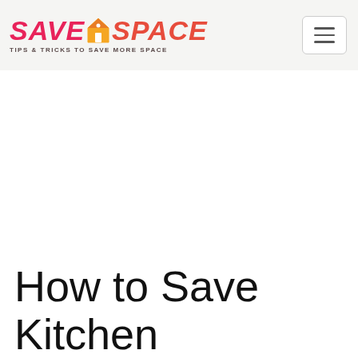SAVE SPACE — TIPS & TRICKS TO SAVE MORE SPACE
[Figure (other): Large white/blank image area below header]
How to Save Kitchen